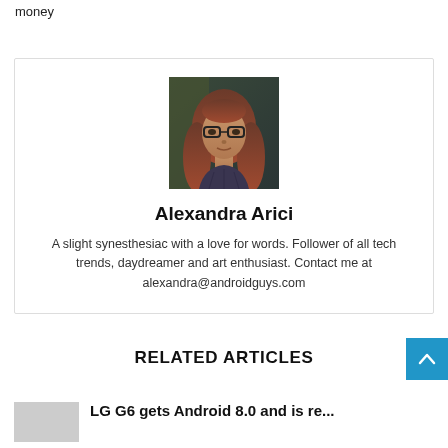money
[Figure (photo): Profile photo of Alexandra Arici, a woman with glasses and long hair]
Alexandra Arici
A slight synesthesiac with a love for words. Follower of all tech trends, daydreamer and art enthusiast. Contact me at alexandra@androidguys.com
RELATED ARTICLES
LG G6 gets Android 8.0 and is re...